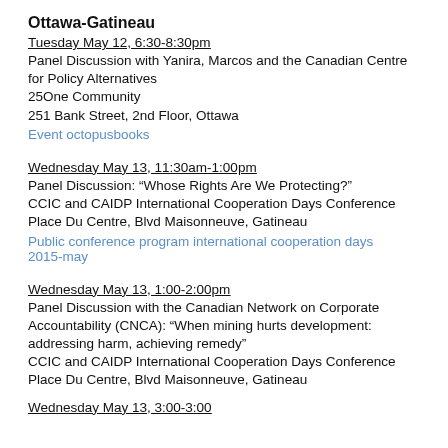Ottawa-Gatineau
Tuesday May 12, 6:30-8:30pm
Panel Discussion with Yanira, Marcos and the Canadian Centre for Policy Alternatives
25One Community
251 Bank Street, 2nd Floor, Ottawa
Event octopusbooks
Wednesday May 13, 11:30am-1:00pm
Panel Discussion: “Whose Rights Are We Protecting?”
CCIC and CAIDP International Cooperation Days Conference
Place Du Centre, Blvd Maisonneuve, Gatineau
Public conference program international cooperation days 2015-may
Wednesday May 13, 1:00-2:00pm
Panel Discussion with the Canadian Network on Corporate Accountability (CNCA): “When mining hurts development: addressing harm, achieving remedy”
CCIC and CAIDP International Cooperation Days Conference
Place Du Centre, Blvd Maisonneuve, Gatineau
Wednesday May 13, 3:00-3:00